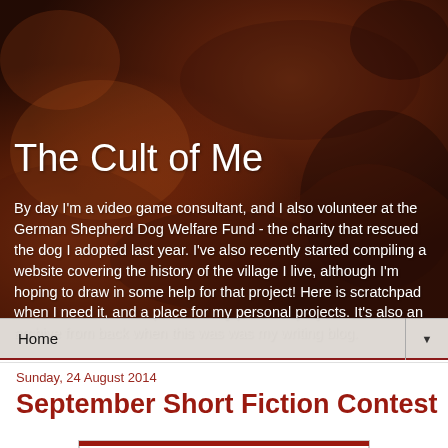[Figure (photo): Reddish-brown textured background resembling rust or earth tones, used as the blog header background image]
The Cult of Me
By day I'm a video game consultant, and I also volunteer at the German Shepherd Dog Welfare Fund - the charity that rescued the dog I adopted last year. I've also recently started compiling a website covering the history of the village I live, although I'm hoping to draw in some help for that project! Here is scratchpad when I need it, and a place for my personal projects. It's also an archive from back when this was was my writing blog.
Home ▼
Sunday, 24 August 2014
September Short Fiction Contest